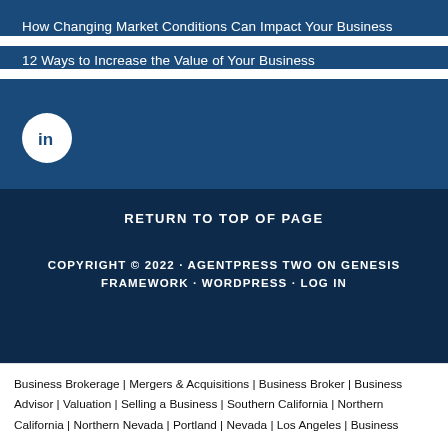How Changing Market Conditions Can Impact Your Business
12 Ways to Increase the Value of Your Business
[Figure (logo): LinkedIn circular icon button, white background with blue 'in' logo]
RETURN TO TOP OF PAGE
COPYRIGHT © 2022 · AGENTPRESS TWO ON GENESIS FRAMEWORK · WORDPRESS · LOG IN
Business Brokerage | Mergers & Acquisitions | Business Broker | Business Advisor | Valuation | Selling a Business | Southern California | Northern California | Northern Nevada | Portland | Nevada | Los Angeles | Business